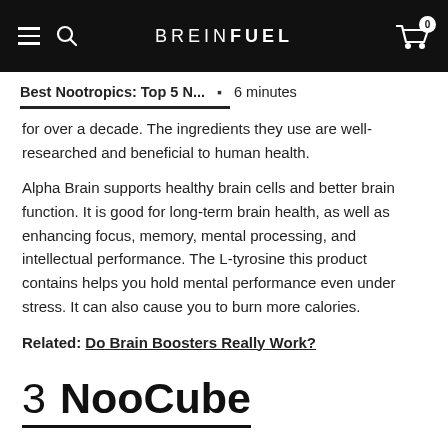BREINFUEL
Best Nootropics: Top 5 N... • 6 minutes
for over a decade. The ingredients they use are well-researched and beneficial to human health.
Alpha Brain supports healthy brain cells and better brain function. It is good for long-term brain health, as well as enhancing focus, memory, mental processing, and intellectual performance. The L-tyrosine this product contains helps you hold mental performance even under stress. It can also cause you to burn more calories.
Related: Do Brain Boosters Really Work?
3  NooCube